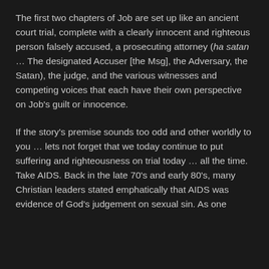The first two chapters of Job are set up like an ancient court trial, complete with a clearly innocent and righteous person falsely accused, a prosecuting attorney (ha satan … The designated Accuser [the Msg], the Adversary, the Satan), the judge, and the various witnesses and competing voices that each have their own perspective on Job's guilt or innocence.
If the story's premise sounds too odd and other worldly to you … lets not forget that we today continue to put suffering and righteousness on trial today … all the time. Take AIDS. Back in the late 70's and early 80's, many Christian leaders stated emphatically that AIDS was evidence of God's judgement on sexual sin. As one